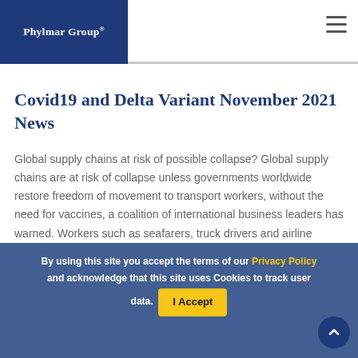Phylmar Group®
Covid19 and Delta Variant November 2021 News
Global supply chains at risk of possible collapse? Global supply chains are at risk of collapse unless governments worldwide restore freedom of movement to transport workers, without the need for vaccines, a coalition of international business leaders has warned. Workers such as seafarers, truck drivers and airline
By using this site you accept the terms of our Privacy Policy and acknowledge that this site uses Cookies to track user data. I Accept